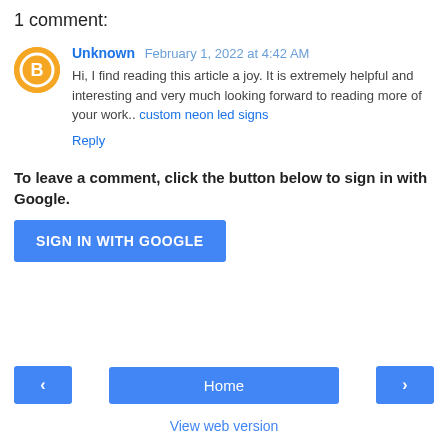1 comment:
Unknown February 1, 2022 at 4:42 AM
Hi, I find reading this article a joy. It is extremely helpful and interesting and very much looking forward to reading more of your work.. custom neon led signs
Reply
To leave a comment, click the button below to sign in with Google.
SIGN IN WITH GOOGLE
< Home > View web version